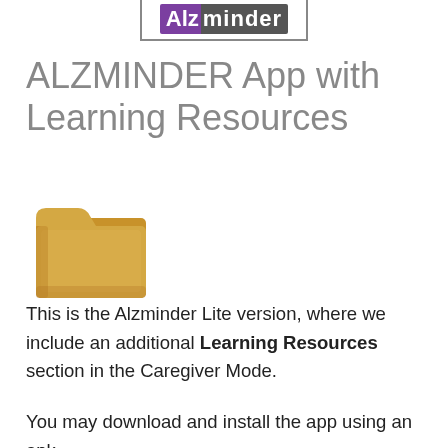[Figure (logo): Alzminder logo with purple 'Alz' and dark 'minder' text in a bordered box]
ALZMINDER App with Learning Resources
[Figure (illustration): Open folder icon in golden/brown color]
This is the Alzminder Lite version, where we include an additional Learning Resources section in the Caregiver Mode.
You may download and install the app using an apk